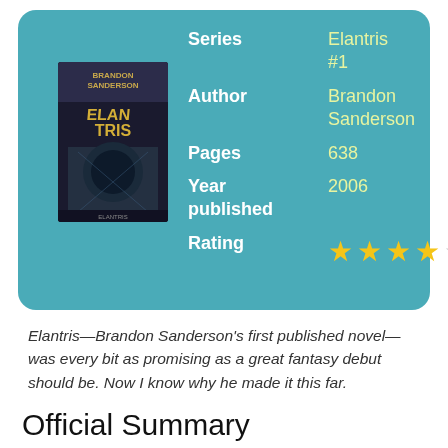| Field | Value |
| --- | --- |
| Series | Elantris #1 |
| Author | Brandon Sanderson |
| Pages | 638 |
| Year published | 2006 |
| Rating | 4 out of 5 stars |
[Figure (illustration): Book cover of Elantris by Brandon Sanderson showing dark fantasy imagery with the title and author name]
Elantris—Brandon Sanderson's first published novel—was every bit as promising as a great fantasy debut should be. Now I know why he made it this far.
Official Summary